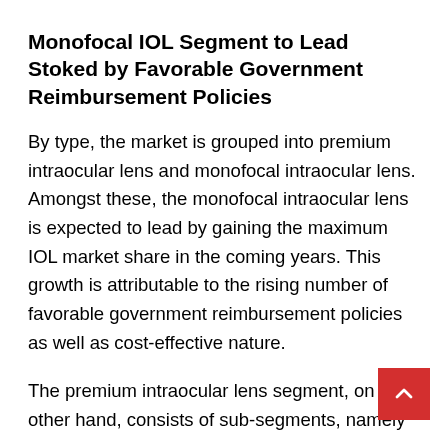Monofocal IOL Segment to Lead Stoked by Favorable Government Reimbursement Policies
By type, the market is grouped into premium intraocular lens and monofocal intraocular lens. Amongst these, the monofocal intraocular lens is expected to lead by gaining the maximum IOL market share in the coming years. This growth is attributable to the rising number of favorable government reimbursement policies as well as cost-effective nature.
The premium intraocular lens segment, on the other hand, consists of sub-segments, namely